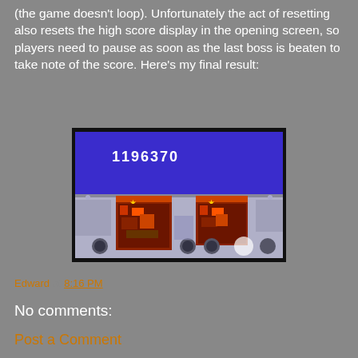(the game doesn't loop). Unfortunately the act of resetting also resets the high score display in the opening screen, so players need to pause as soon as the last boss is beaten to take note of the score. Here's my final result:
[Figure (photo): Screenshot of a retro video game showing score 1196370 on screen, with game characters/bosses visible on a blue and grey game level.]
Edward at 8:16 PM
No comments:
Post a Comment